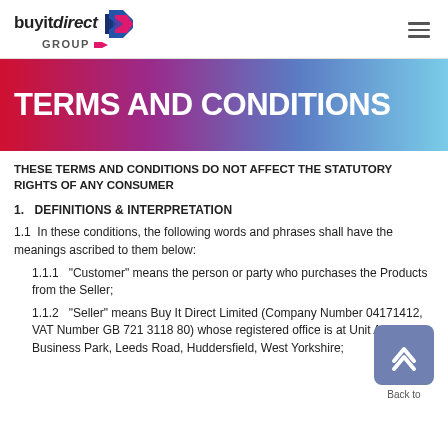buyitdirect GROUP [logo] [hamburger menu]
TERMS AND CONDITIONS
THESE TERMS AND CONDITIONS DO NOT AFFECT THE STATUTORY RIGHTS OF ANY CONSUMER
1.   DEFINITIONS & INTERPRETATION
1.1  In these conditions, the following words and phrases shall have the meanings ascribed to them below:
1.1.1   "Customer" means the person or party who purchases the Products from the Seller;
1.1.2   "Seller" means Buy It Direct Limited (Company Number 04171412, VAT Number GB 721 3118 80) whose registered office is at Unit A, Trident Business Park, Leeds Road, Huddersfield, West Yorkshire;